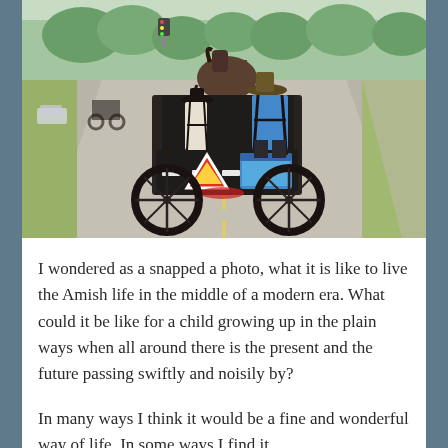[Figure (photo): Rear view of an Amish horse-drawn buggy on a road. Two people visible from behind — a child in a black hat and a man in a blue shirt with black suspenders. A slow-moving vehicle triangle sign is visible on the back of the wagon along with a blue cooler. Trees and road markings visible in background.]
I wondered as a snapped a photo, what it is like to live the Amish life in the middle of a modern era. What could it be like for a child growing up in the plain ways when all around there is the present and the future passing swiftly and noisily by?
In many ways I think it would be a fine and wonderful way of life. In some ways I find it